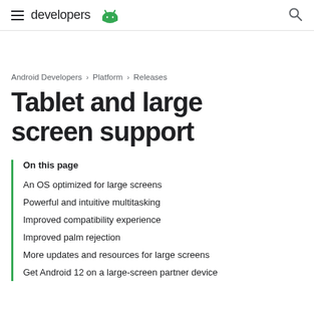developers
Android Developers > Platform > Releases
Tablet and large screen support
On this page
An OS optimized for large screens
Powerful and intuitive multitasking
Improved compatibility experience
Improved palm rejection
More updates and resources for large screens
Get Android 12 on a large-screen partner device